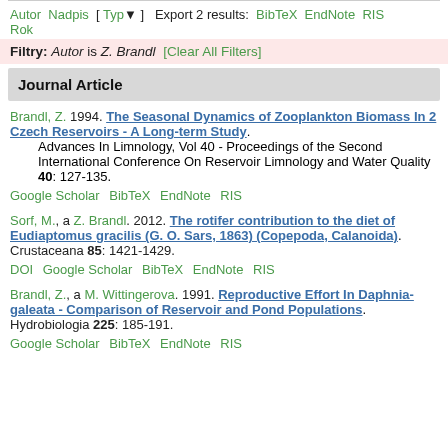Autor Nadpis [ Typ ] Export 2 results: BibTeX EndNote RIS Rok
Filtry: Autor is Z. Brandl [Clear All Filters]
Journal Article
Brandl, Z. 1994. The Seasonal Dynamics of Zooplankton Biomass In 2 Czech Reservoirs - A Long-term Study. Advances In Limnology, Vol 40 - Proceedings of the Second International Conference On Reservoir Limnology and Water Quality 40: 127-135.
Google Scholar BibTeX EndNote RIS
Sorf, M., a Z. Brandl. 2012. The rotifer contribution to the diet of Eudiaptomus gracilis (G. O. Sars, 1863) (Copepoda, Calanoida). Crustaceana 85: 1421-1429.
DOI Google Scholar BibTeX EndNote RIS
Brandl, Z., a M. Wittingerova. 1991. Reproductive Effort In Daphnia-galeata - Comparison of Reservoir and Pond Populations. Hydrobiologia 225: 185-191.
Google Scholar BibTeX EndNote RIS